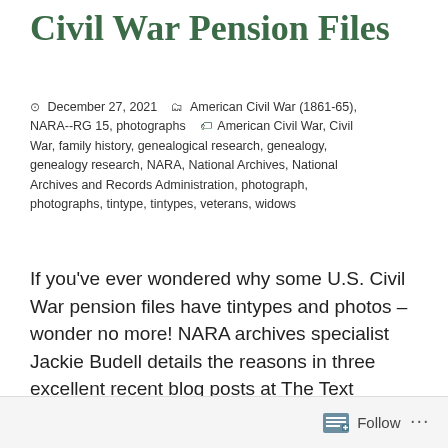Civil War Pension Files
December 27, 2021  American Civil War (1861-65), NARA--RG 15, photographs  American Civil War, Civil War, family history, genealogical research, genealogy, genealogy research, NARA, National Archives, National Archives and Records Administration, photograph, photographs, tintype, tintypes, veterans, widows
If you’ve ever wondered why some U.S. Civil War pension files have tintypes and photos – wonder no more! NARA archives specialist Jackie Budell details the reasons in three excellent recent blog posts at The Text Message:
Follow